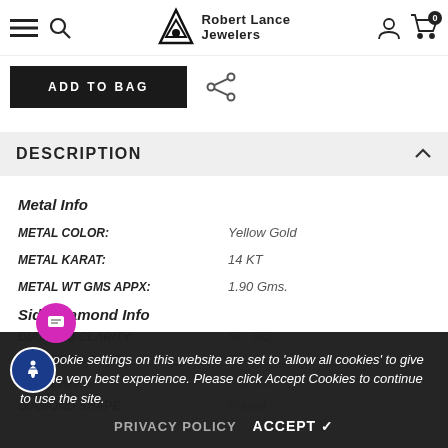Robert Lance Jewelers
ADD TO BAG
DESCRIPTION
Metal Info
METAL COLOR: Yellow Gold
METAL KARAT: 14 KT
METAL WT GMS APPX: 1.90 Gms.
Side Diamond Info
The cookie settings on this website are set to 'allow all cookies' to give you the very best experience. Please click Accept Cookies to continue to use the site.
PRIVACY POLICY   ACCEPT ✓